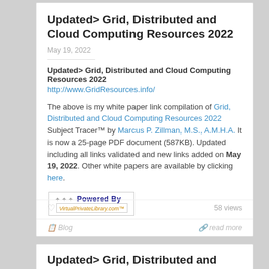Updated> Grid, Distributed and Cloud Computing Resources 2022
May 19, 2022
Updated> Grid, Distributed and Cloud Computing Resources 2022
http://www.GridResources.info/
The above is my white paper link compilation of Grid, Distributed and Cloud Computing Resources 2022 Subject Tracer™ by Marcus P. Zillman, M.S., A.M.H.A. It is now a 25-page PDF document (587KB). Updated including all links validated and new links added on May 19, 2022. Other white papers are available by clicking here.
[Figure (logo): Powered By VirtualPrivateLibrary.com logo badge]
Blog   read more
58 views
Updated> Grid, Distributed and Cloud Computing Resources Primer 2022